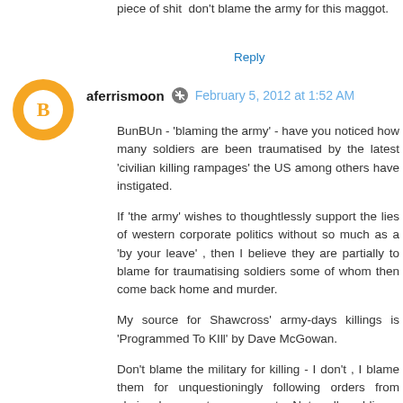piece of shit  don't blame the army for this maggot.
Reply
aferrismoon  February 5, 2012 at 1:52 AM
BunBUn - 'blaming the army' - have you noticed how many soldiers are been traumatised by the latest 'civilian killing rampages' the US among others have instigated.
If 'the army' wishes to thoughtlessly support the lies of western corporate politics without so much as a 'by your leave' , then I believe they are partially to blame for traumatising soldiers some of whom then come back home and murder.
My source for Shawcross' army-days killings is 'Programmed To KIll' by Dave McGowan.
Don't blame the military for killing - I don't , I blame them for unquestioningly following orders from obviously corrupt governments. Not really soldiers , as they're too frightened to really face tyranny in their own country.